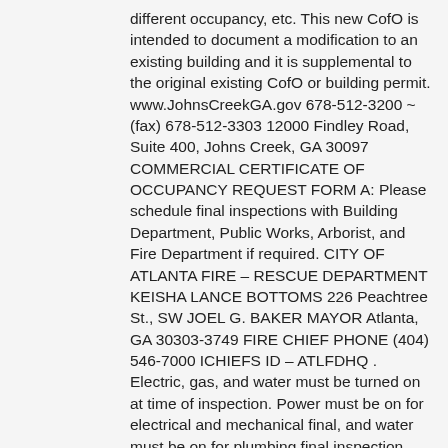different occupancy, etc. This new CofO is intended to document a modification to an existing building and it is supplemental to the original existing CofO or building permit. www.JohnsCreekGA.gov 678-512-3200 ~ (fax) 678-512-3303 12000 Findley Road, Suite 400, Johns Creek, GA 30097 COMMERCIAL CERTIFICATE OF OCCUPANCY REQUEST FORM A: Please schedule final inspections with Building Department, Public Works, Arborist, and Fire Department if required. CITY OF ATLANTA FIRE – RESCUE DEPARTMENT KEISHA LANCE BOTTOMS 226 Peachtree St., SW JOEL G. BAKER MAYOR Atlanta, GA 30303-3749 FIRE CHIEF PHONE (404) 546-7000 ICHIEFS ID – ATLFDHQ . Electric, gas, and water must be turned on at time of inspection. Power must be on for electrical and mechanical final, and water must be on for plumbing final inspection. City of Brookhaven COVID-19 Response and Resources. Q: How do I obtain the Certificate of Occupancy? 5. We are pleased to offer our citizens, businesses, and visitors access to government services online, 24 hours a day, 7 days a week. Starter